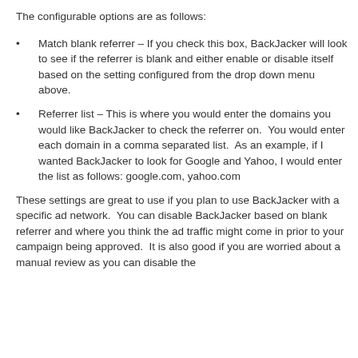Disable plugin on match – This will disable BackJacker if the referrer matches the settings you configure.
The configurable options are as follows:
Match blank referrer – If you check this box, BackJacker will look to see if the referrer is blank and either enable or disable itself based on the setting configured from the drop down menu above.
Referrer list – This is where you would enter the domains you would like BackJacker to check the referrer on.  You would enter each domain in a comma separated list.  As an example, if I wanted BackJacker to look for Google and Yahoo, I would enter the list as follows: google.com, yahoo.com
These settings are great to use if you plan to use BackJacker with a specific ad network.  You can disable BackJacker based on blank referrer and where you think the ad traffic might come in prior to your campaign being approved.  It is also good if you are worried about a manual review as you can disable the